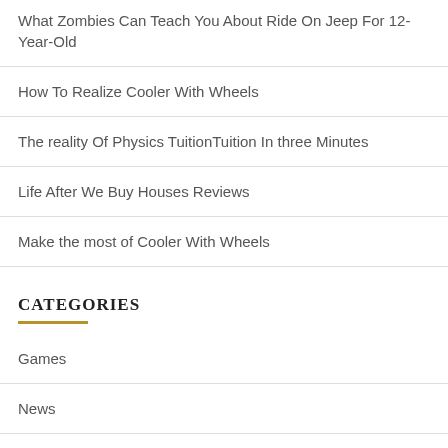What Zombies Can Teach You About Ride On Jeep For 12-Year-Old
How To Realize Cooler With Wheels
The reality Of Physics TuitionTuition In three Minutes
Life After We Buy Houses Reviews
Make the most of Cooler With Wheels
CATEGORIES
Games
News